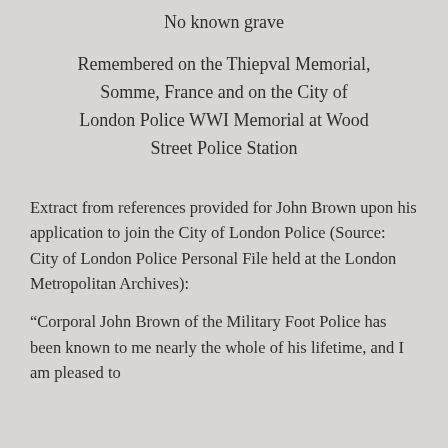No known grave
Remembered on the Thiepval Memorial, Somme, France and on the City of London Police WWI Memorial at Wood Street Police Station
Extract from references provided for John Brown upon his application to join the City of London Police (Source: City of London Police Personal File held at the London Metropolitan Archives):
“Corporal John Brown of the Military Foot Police has been known to me nearly the whole of his lifetime, and I am pleased to